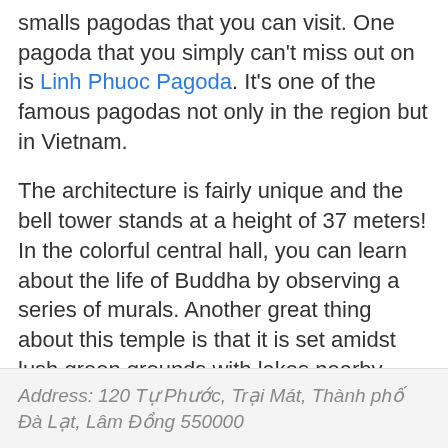smalls pagodas that you can visit. One pagoda that you simply can't miss out on is Linh Phuoc Pagoda. It's one of the famous pagodas not only in the region but in Vietnam.
The architecture is fairly unique and the bell tower stands at a height of 37 meters! In the colorful central hall, you can learn about the life of Buddha by observing a series of murals. Another great thing about this temple is that it is set amidst lush green grounds with lakes nearby. This makes it the perfect place to unwind and relax as you brush up your knowledge about Vietnamese culture and Buddhism.
Address: 120 Tự Phước, Trại Mát, Thành phố Đà Lạt, Lâm Đồng 550000